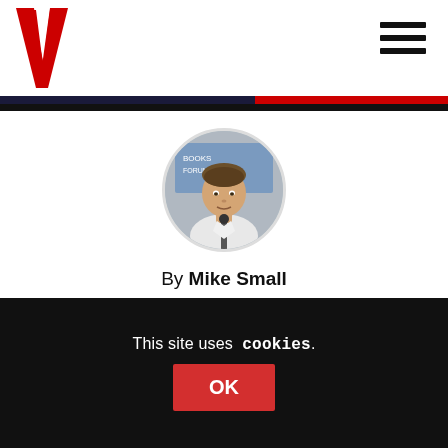Bella Caledonia logo and navigation
[Figure (photo): Circular author headshot of Mike Small, a man looking upward near a microphone, wearing a white shirt, with a blurred background]
By Mike Small
More By This Author
Published on 11th April 2021
This site uses cookies.
OK